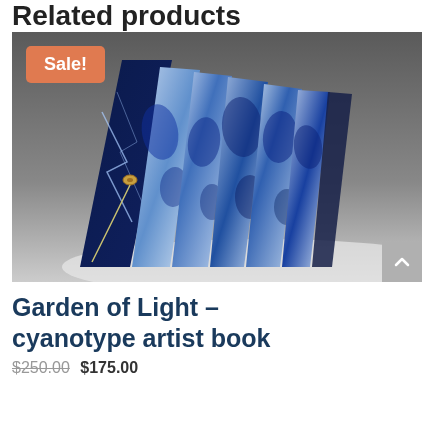Related products
[Figure (photo): An accordion-style artist book displayed with pages fanned out. The pages feature cyanotype prints in blue and white showing botanical/floral imagery. A wooden toggle closure and string are visible on the dark blue cover. A salmon/orange 'Sale!' badge is overlaid in the top-left corner of the image.]
Garden of Light – cyanotype artist book
$250.00 $175.00